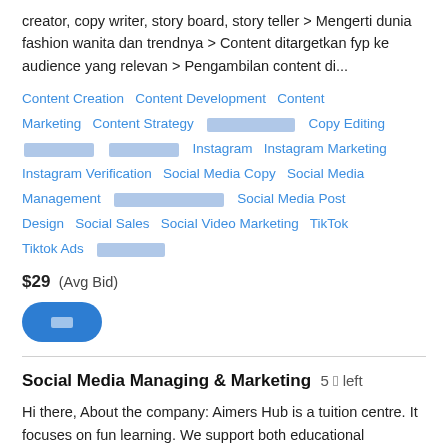creator, copy writer, story board, story teller > Mengerti dunia fashion wanita dan trendnya > Content ditargetkan fyp ke audience yang relevan > Pengambilan content di...
Content Creation  Content Development  Content Marketing  Content Strategy  [redacted]  Copy Editing  [redacted]  [redacted]  Instagram  Instagram Marketing  Instagram Verification  Social Media Copy  Social Media Management  [redacted]  Social Media Post Design  Social Sales  Social Video Marketing  TikTok  Tiktok Ads  [redacted]
$29  (Avg Bid)
[button]
Social Media Managing & Marketing  5 🏷 left
Hi there, About the company: Aimers Hub is a tuition centre. It focuses on fun learning. We support both educational development and personality development. Here proper mental and career counselling is given first